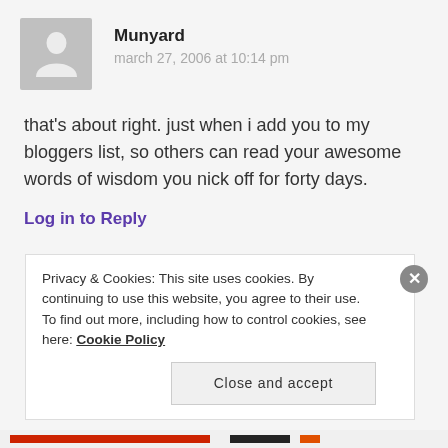[Figure (illustration): Grey avatar placeholder silhouette icon of a person]
Munyard
march 27, 2006 at 10:14 pm
that's about right. just when i add you to my bloggers list, so others can read your awesome words of wisdom you nick off for forty days.
Log in to Reply
Privacy & Cookies: This site uses cookies. By continuing to use this website, you agree to their use.
To find out more, including how to control cookies, see here: Cookie Policy
Close and accept